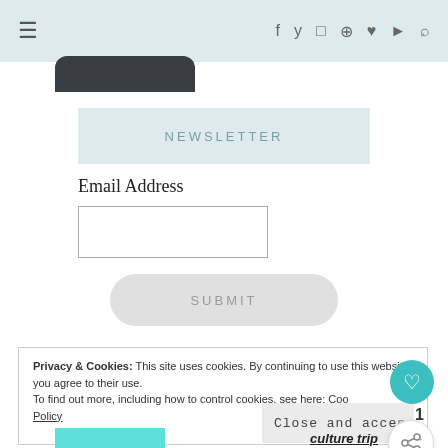☰  f  ✓  ◻  ⊕  ♥  ▶  ⌕
[Figure (illustration): Dark rounded hat/tag shape at top left]
NEWSLETTER
Email Address
SUBMIT
Privacy & Cookies: This site uses cookies. By continuing to use this website, you agree to their use.
To find out more, including how to control cookies, see here: Cookie Policy
Close and accept
1